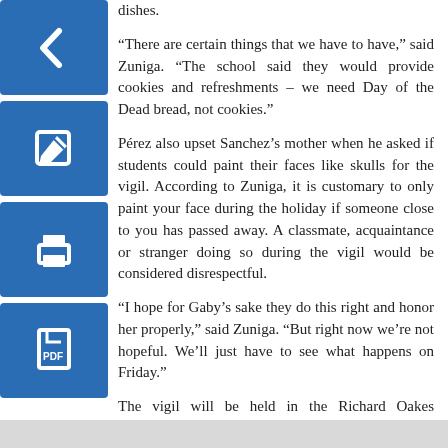dishes.
[Figure (illustration): Blue square icon with white left arrow (back navigation)]
“There are certain things that we have to have,” said Zuniga. “The school said they would provide cookies and refreshments – we need Day of the Dead bread, not cookies.”
[Figure (illustration): Blue square icon with white pencil/edit symbol]
Pérez also upset Sanchez’s mother when he asked if students could paint their faces like skulls for the vigil. According to Zuniga, it is customary to only paint your face during the holiday if someone close to you has passed away. A classmate, acquaintance or stranger doing so during the vigil would be considered disrespectful.
[Figure (illustration): Blue square icon with white printer symbol]
“I hope for Gaby’s sake they do this right and honor her properly,” said Zuniga. “But right now we’re not hopeful. We’ll just have to see what happens on Friday.”
[Figure (illustration): Blue square icon with white PDF/document symbol]
The vigil will be held in the Richard Oakes Multicultural Center, located in the Cesar Chavez Student Center; from 2p.m. to 3:30p.m. on Nov. 3. Participants are encouraged to bring mementos of remembrance for Sanchez and to wear black clothes with colorful accessories, as is customary for Dia de Los Muertos.